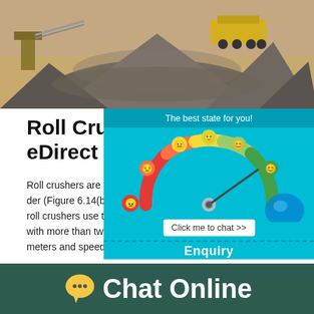[Figure (photo): Aerial/ground-level photo of a mining/crushing site with large piles of crushed aggregate/gravel and industrial machinery including trucks and yellow equipment in the background.]
Roll Crusher - an overview ScienceDirect Topics
Roll crushers are also manufactured with only one cylinder (Figure 6.14(b)), which revolves toward a fixed plate. Some roll crushers use three, four, or six cylinders, although machines with more than two rolls are rare today. In some instances, the diameters and speeds of the rolls may differ.
Capacity
[Figure (infographic): Chat widget showing a gauge/meter with emoji faces ranging from angry (red) to happy (green), indicating 'The best state for you!' with a 'Click me to chat >>' button and 'Enquiry' label at the bottom.]
[Figure (infographic): Dark teal footer banner with a yellow speech bubble chat icon and white bold text reading 'Chat Online'.]